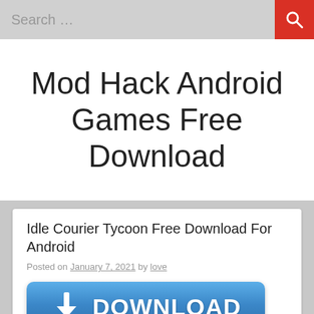Search …
Mod Hack Android Games Free Download
Idle Courier Tycoon Free Download For Android
Posted on January 7, 2021 by love
[Figure (illustration): Blue download button with arrow icon and text DOWNLOAD]